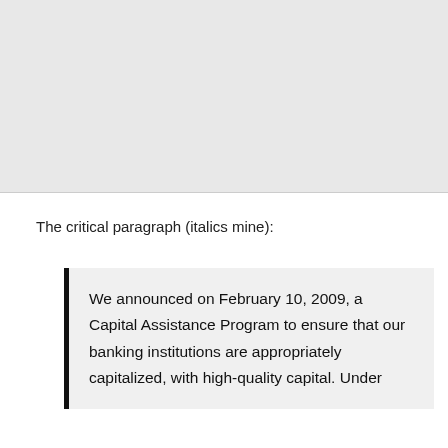[Figure (other): Gray background area at top of page, likely continuation of a figure or image from previous page]
The critical paragraph (italics mine):
We announced on February 10, 2009, a Capital Assistance Program to ensure that our banking institutions are appropriately capitalized, with high-quality capital. Under